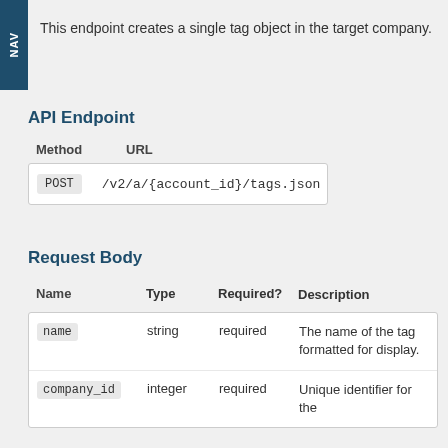NAV
This endpoint creates a single tag object in the target company.
API Endpoint
| Method | URL |
| --- | --- |
| POST | /v2/a/{account_id}/tags.json |
Request Body
| Name | Type | Required? | Description |
| --- | --- | --- | --- |
| name | string | required | The name of the tag formatted for display. |
| company_id | integer | required | Unique identifier for the |